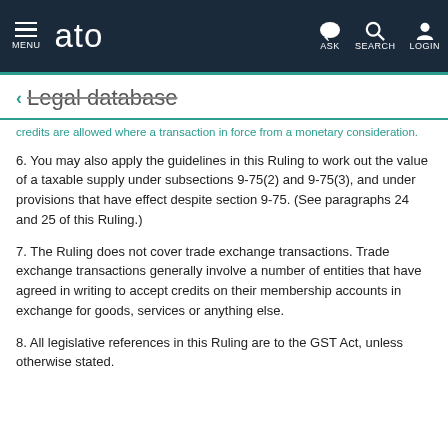MENU | ato | ASK | SEARCH | LOGIN
← Legal database
credits are allowed where a transaction in force from a monetary consideration.
6. You may also apply the guidelines in this Ruling to work out the value of a taxable supply under subsections 9-75(2) and 9-75(3), and under provisions that have effect despite section 9-75. (See paragraphs 24 and 25 of this Ruling.)
7. The Ruling does not cover trade exchange transactions. Trade exchange transactions generally involve a number of entities that have agreed in writing to accept credits on their membership accounts in exchange for goods, services or anything else.
8. All legislative references in this Ruling are to the GST Act, unless otherwise stated.